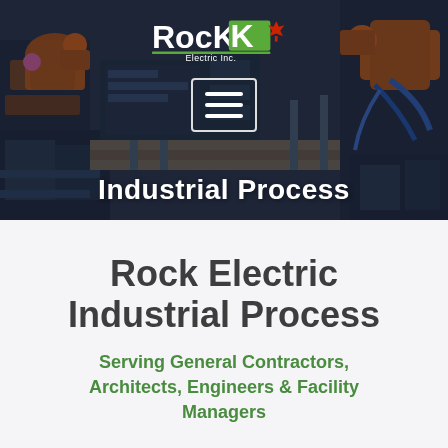[Figure (photo): Industrial robotic arms in a factory setting, with a dark blue overlay. The Rock Electric Inc. logo with a red maple leaf is displayed at the top center. A hamburger menu icon in a white-bordered box is shown below the logo. The text 'Industrial Process' appears in bold white at the bottom of the image.]
Rock Electric Industrial Process
Serving General Contractors, Architects, Engineers & Facility Managers